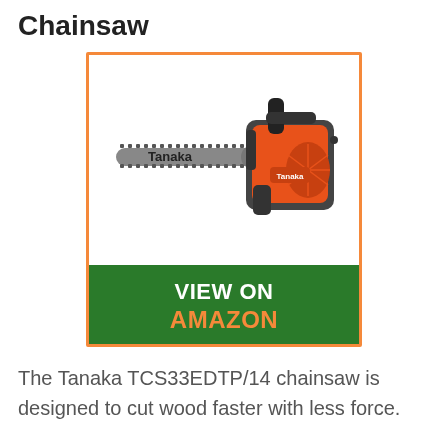Chainsaw
[Figure (photo): Tanaka TCS33EDTP/14 chainsaw product photo showing an orange and black chainsaw with guide bar labeled 'Tanaka', with a 'VIEW ON AMAZON' button below in dark green with orange text]
The Tanaka TCS33EDTP/14 chainsaw is designed to cut wood faster with less force.